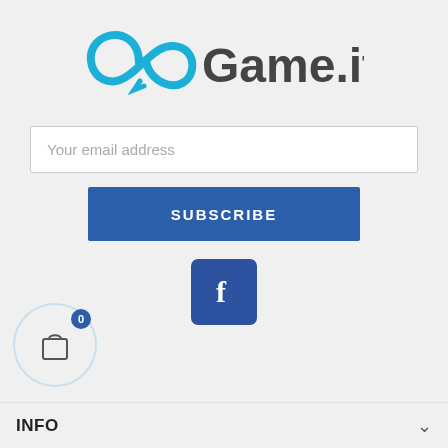[Figure (logo): abGame.it logo with cyan infinity-like symbol and dark gray text]
Your email address
SUBSCRIBE
[Figure (logo): Facebook icon button (blue rounded square with white 'f')]
[Figure (infographic): Shopping cart icon inside a light blue circle with badge showing 0]
INFO